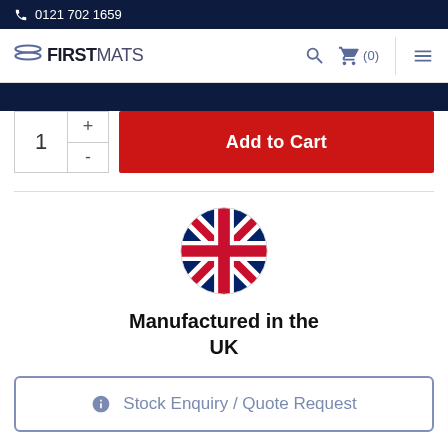0121 702 1659
[Figure (screenshot): FirstMats logo with navigation icons (search, cart, menu)]
1
Add to Cart
[Figure (illustration): UK flag circle icon]
Manufactured in the UK
Stock Enquiry / Quote Request